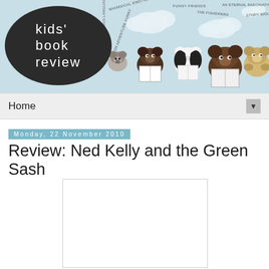[Figure (illustration): Kids' Book Review blog header banner with dark oval logo on left showing 'kids' book review' text, and illustrated cartoon bears/animals reading books on a light blue background with clouds and floating words]
Home
Monday, 22 November 2010
Review: Ned Kelly and the Green Sash
[Figure (illustration): Book cover image placeholder (white rectangle with border)]